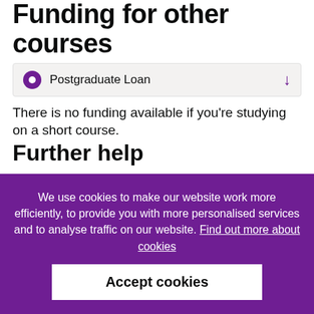Funding for other courses
Postgraduate Loan
There is no funding available if you're studying on a short course.
Further help
Find extra support that you may be eligible to apply for directly from the UK
We use cookies to make our website work more efficiently, to provide you with more personalised services and to analyse traffic on our website. Find out more about cookies
Accept cookies